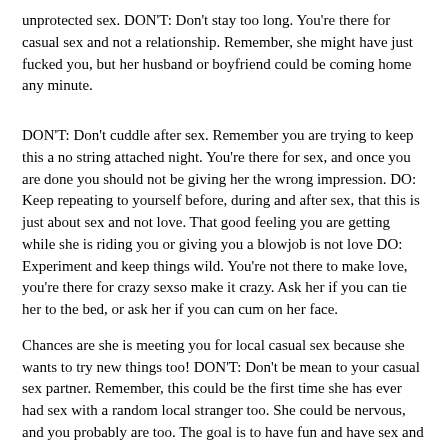unprotected sex. DON'T: Don't stay too long. You're there for casual sex and not a relationship. Remember, she might have just fucked you, but her husband or boyfriend could be coming home any minute.
DON'T: Don't cuddle after sex. Remember you are trying to keep this a no string attached night. You're there for sex, and once you are done you should not be giving her the wrong impression. DO: Keep repeating to yourself before, during and after sex, that this is just about sex and not love. That good feeling you are getting while she is riding you or giving you a blowjob is not love DO: Experiment and keep things wild. You're not there to make love, you're there for crazy sexso make it crazy. Ask her if you can tie her to the bed, or ask her if you can cum on her face.
Chances are she is meeting you for local casual sex because she wants to try new things too! DON'T: Don't be mean to your casual sex partner. Remember, this could be the first time she has ever had sex with a random local stranger too. She could be nervous, and you probably are too. The goal is to have fun and have sex and to go home laidnot to go home angry. You've just gotten out of a serious relationship and now you've decided to try a casual adult dating. Where do you start? Are you rusty? There are a few things that you can keep in mind that will help to ensure that your casual